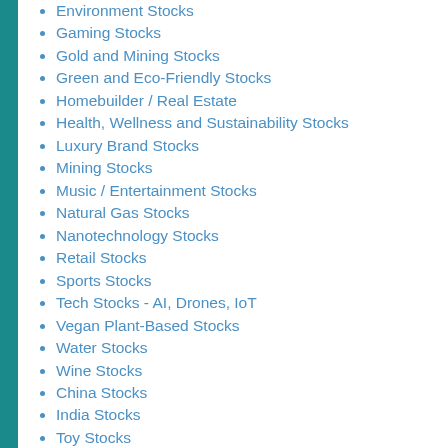Environment Stocks
Gaming Stocks
Gold and Mining Stocks
Green and Eco-Friendly Stocks
Homebuilder / Real Estate
Health, Wellness and Sustainability Stocks
Luxury Brand Stocks
Mining Stocks
Music / Entertainment Stocks
Natural Gas Stocks
Nanotechnology Stocks
Retail Stocks
Sports Stocks
Tech Stocks - AI, Drones, IoT
Vegan Plant-Based Stocks
Water Stocks
Wine Stocks
China Stocks
India Stocks
Toy Stocks
Fuel Cell Stocks
Topics